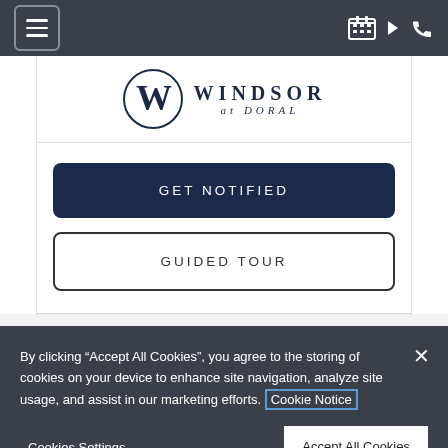[Figure (screenshot): Website navigation bar with hamburger menu icon on left, and calendar/phone icons on right, dark gray background]
[Figure (logo): Windsor at Doral logo with circular W monogram]
GET NOTIFIED
GUIDED TOUR
By clicking “Accept All Cookies”, you agree to the storing of cookies on your device to enhance site navigation, analyze site usage, and assist in our marketing efforts. Cookie Notice
Cookies Settings
Accept All Cookies